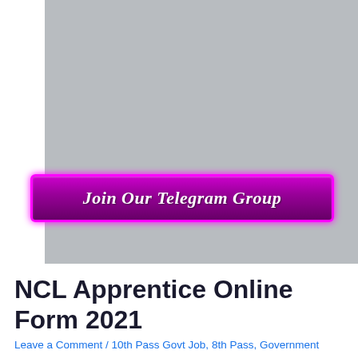[Figure (other): Gray placeholder image area with a purple/magenta button overlay reading 'Join Our Telegram Group']
NCL Apprentice Online Form 2021
Leave a Comment / 10th Pass Govt Job, 8th Pass, Government